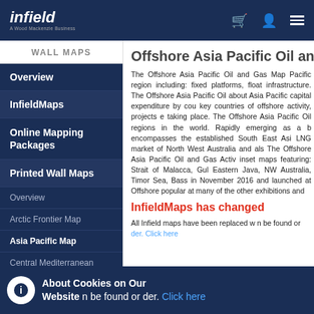infield
WALL MAPS
Overview
InfieldMaps
Online Mapping Packages
Printed Wall Maps
Overview
Arctic Frontier Map
Asia Pacific Map
Central Mediterranean and North Af
Gulf of Mexi
Latin Americ
Offshore Asia Pacific Oil and
The Offshore Asia Pacific Oil and Gas Map Pacific region including: fixed platforms, float infrastructure. The Offshore Asia Pacific Oil about Asia Pacific capital expenditure by cou key countries of offshore activity, projects e taking place. The Offshore Asia Pacific Oil regions in the world. Rapidly emerging as a b encompasses the established South East Asi LNG market of North West Australia and als The Offshore Asia Pacific Oil and Gas Activ inset maps featuring: Strait of Malacca, Gul Eastern Java, NW Australia, Timor Sea, Bass in November 2016 and launched at Offshore popular at many of the other exhibitions and
InfieldMaps has changed
All Infield maps have been replaced w n be found or der. Click here